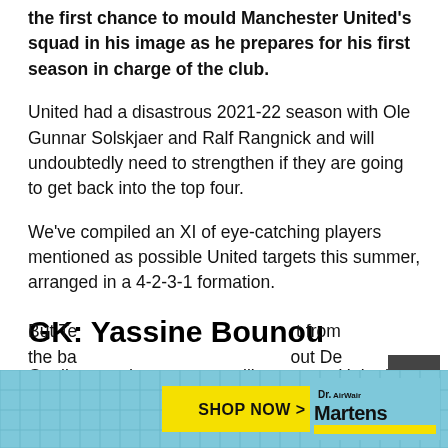the first chance to mould Manchester United's squad in his image as he prepares for his first season in charge of the club.
United had a disastrous 2021-22 season with Ole Gunnar Solskjaer and Ralf Rangnick and will undoubtedly need to strengthen if they are going to get back into the top four.
We've compiled an XI of eye-catching players mentioned as possible United targets this summer, arranged in a 4-2-3-1 formation.
GK: Yassine Bounou
Goalkeeper does not seem like an area United will be desperate to strengthen given they already have David de Gea, who has just won their Players Player of the Year award.
But Te… t from the ba… out De
[Figure (other): Dr. Martens advertisement banner with 'SHOP NOW >' button on yellow background and Dr. Martens AirWair logo on right, overlaid on blue tiled background]